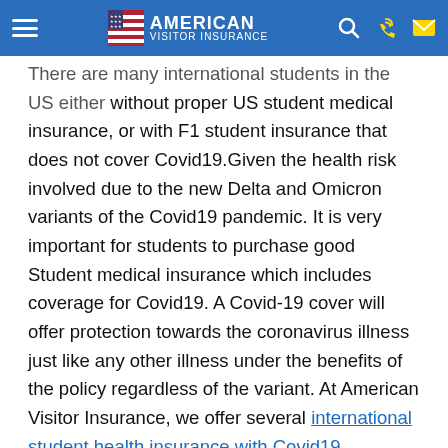American Visitor Insurance
There are many international students in the US either without proper US student medical insurance, or with F1 student insurance that does not cover Covid19.Given the health risk involved due to the new Delta and Omicron variants of the Covid19 pandemic. It is very important for students to purchase good Student medical insurance which includes coverage for Covid19. A Covid-19 cover will offer protection towards the coronavirus illness just like any other illness under the benefits of the policy regardless of the variant. At American Visitor Insurance, we offer several international student health insurance with Covid19 coverage. The Covid-19 cover provides coverage just like any other illness irrespective of the variant Earlier international students in the US had to buy affordable care act, ACA (Obamacare) compliant